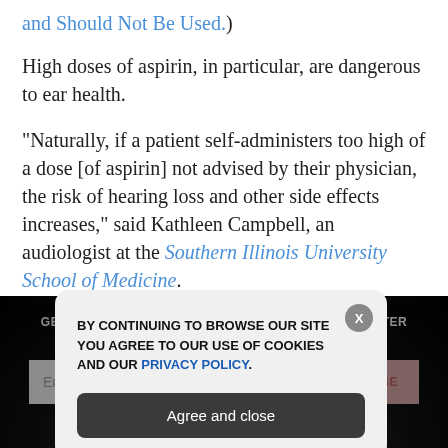and Should Not Be Used.)
High doses of aspirin, in particular, are dangerous to ear health.
“Naturally, if a patient self-administers too high of a dose [of aspirin] not advised by their physician, the risk of hearing loss and other side effects increases,” said Kathleen Campbell, an audiologist at the Southern Illinois University School of Medicine.
GET THE WORLD'S BEST NATURAL HEALTH NEWSLETTER DELIVERED STRAIGHT TO YOUR INBOX
Enter Your Email Address
SUBSCRIBE
BY CONTINUING TO BROWSE OUR SITE YOU AGREE TO OUR USE OF COOKIES AND OUR PRIVACY POLICY.
Agree and close